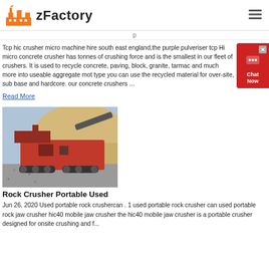zFactory
Tcp hic crusher micro machine hire south east england,the purple pulveriser tcp Hi micro concrete crusher has tonnes of crushing force and is the smallest in our fleet of crushers. It is used to recycle concrete, paving, block, granite, tarmac and much more into useable aggregate mot type you can use the recycled material for over-site, sub base and hardcore. our concrete crushers ...
Read More
[Figure (photo): Red mobile jaw crusher machine on a gravel/aggregate site with sandy hill in background]
Rock Crusher Portable Used
Jun 26, 2020  Used portable rock crushercan . 1 used portable rock crusher can used portable rock jaw crusher hic40 mobile jaw crusher the hic40 mobile jaw crusher is a portable crusher designed for onsite crushing and f...